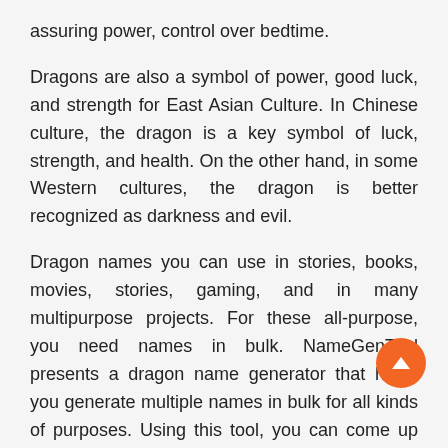assuring power, control over bedtime.
Dragons are also a symbol of power, good luck, and strength for East Asian Culture. In Chinese culture, the dragon is a key symbol of luck, strength, and health. On the other hand, in some Western cultures, the dragon is better recognized as darkness and evil.
Dragon names you can use in stories, books, movies, stories, gaming, and in many multipurpose projects. For these all-purpose, you need names in bulk. NameGenTool presents a dragon name generator that helps you generate multiple names in bulk for all kinds of purposes. Using this tool, you can come up with different kinds of random dragon names.
Why Do You Need A Dragon